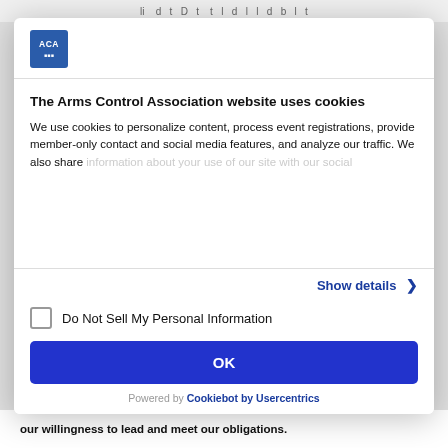li... l d t D t t l d l l d b l t
[Figure (logo): ACA (Arms Control Association) logo — blue square with white text 'ACA']
The Arms Control Association website uses cookies
We use cookies to personalize content, process event registrations, provide member-only contact and social media features, and analyze our traffic. We also share information about your use of our site with our social...
Show details >
Do Not Sell My Personal Information
OK
Powered by Cookiebot by Usercentrics
our willingness to lead and meet our obligations.